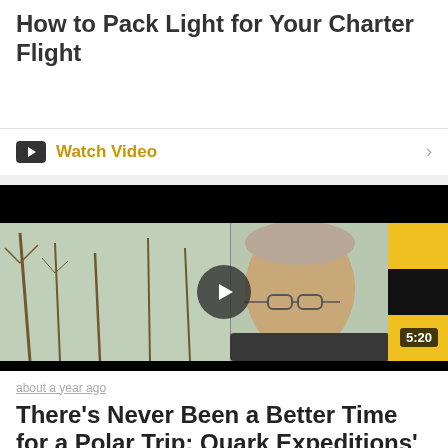How to Pack Light for Your Charter Flight
Watch Video
[Figure (screenshot): Video thumbnail showing a man with glasses smiling, with trees visible through a window behind him and a yellow/black flag on the right. A play button is overlaid in the center. Duration badge shows 5:20.]
about a year ago
There’s Never Been a Better Time for a Polar Trip: Quark Expeditions’ SAFE COVID...